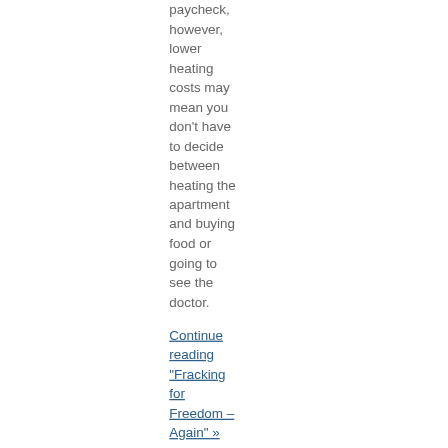paycheck, however, lower heating costs may mean you don't have to decide between heating the apartment and buying food or going to see the doctor.
Continue reading "Fracking for Freedom – Again" »
Posted by